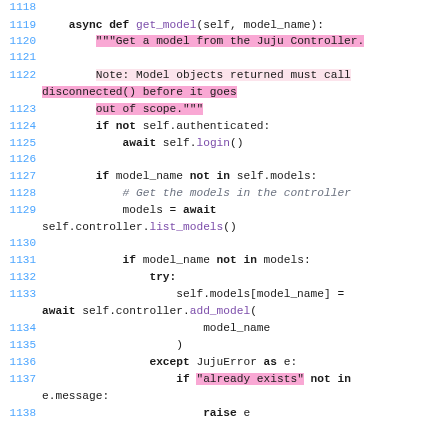[Figure (screenshot): Python source code listing with syntax highlighting, lines 1118-1138. Shows an async method get_model with docstring highlighted in pink, authentication check, model lookup, and error handling logic.]